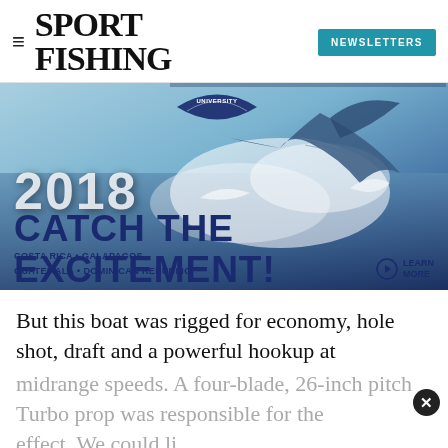SPORT FISHING
[Figure (photo): Sport Fishing University 2018 advertisement banner showing a sailfish leaping out of water with text 'CATCH THE EXCITEMENT!' and destinations: Costa Rica, Galapagos, Guatemala, Dominican Republic]
But this boat was rigged for economy, hole shot, draft and a powerful hookup at midrange speeds. A four-blade, 26-inch pitch Turbo prop was responsible for the effect. We could be more informative with